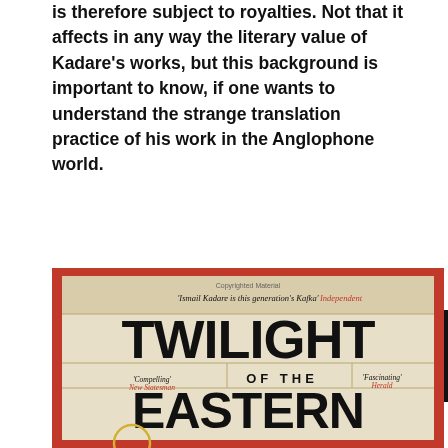is therefore subject to royalties. Not that it affects in any way the literary value of Kadare's works, but this background is important to know, if one wants to understand the strange translation practice of his work in the Anglophone world.
[Figure (photo): Book cover of 'Twilight of the Eastern Gods' by Ismail Kadare. The cover has a red border with a cream/beige center. Large bold black text reads 'TWILIGHT' at top, then 'OF THE' in the middle, then 'EASTERN' and partial 'GDS' at bottom. Quotes from Independent, New Statesman, and Herald are shown. Small text at top says 'Copyrighted Material' and quotes 'Ismail Kadare is this generation's Kafka' - Independent.]